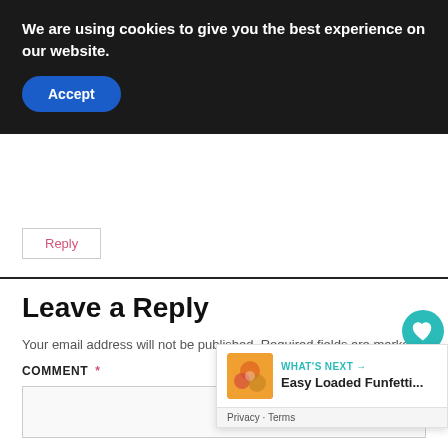We are using cookies to give you the best experience on our website.
Accept
Reply
Leave a Reply
Your email address will not be published. Required fields are marked
COMMENT *
[Figure (other): Social widget with heart icon showing count of 1 and a share icon, both on teal circular buttons]
[Figure (other): What's Next promo widget showing a food thumbnail and text 'Easy Loaded Funfetti...' with Privacy and Terms footer]